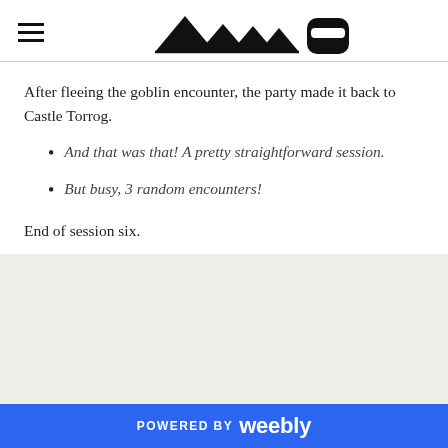[logo: mountain/character icons]
After fleeing the goblin encounter, the party made it back to Castle Torrog.
And that was that! A pretty straightforward session.
But busy, 3 random encounters!
End of session six.
POWERED BY weebly